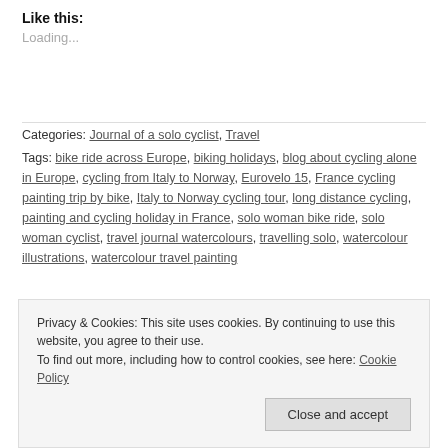Like this:
Loading...
Categories: Journal of a solo cyclist, Travel
Tags: bike ride across Europe, biking holidays, blog about cycling alone in Europe, cycling from Italy to Norway, Eurovelo 15, France cycling painting trip by bike, Italy to Norway cycling tour, long distance cycling, painting and cycling holiday in France, solo woman bike ride, solo woman cyclist, travel journal watercolours, travelling solo, watercolour illustrations, watercolour travel painting
Privacy & Cookies: This site uses cookies. By continuing to use this website, you agree to their use. To find out more, including how to control cookies, see here: Cookie Policy
Close and accept